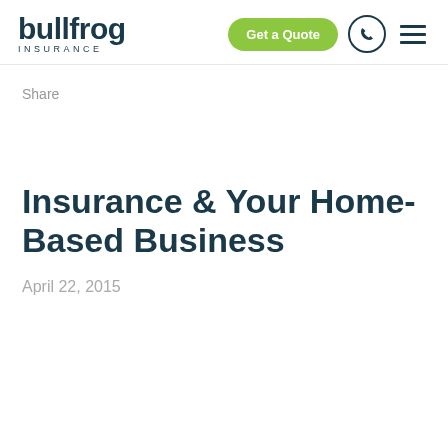bullfrog INSURANCE — navigation header with Get a Quote button, phone icon, and menu icon
Share
Insurance & Your Home-Based Business
April 22, 2015